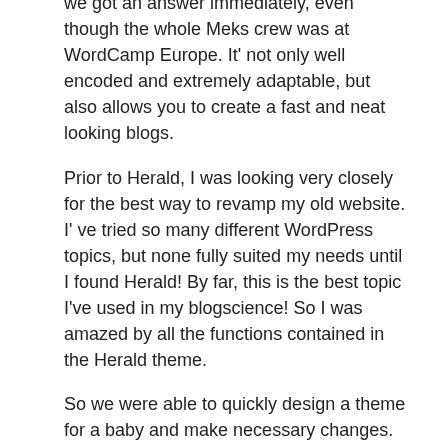we got an answer immediately, even though the whole Meks crew was at WordCamp Europe. It' not only well encoded and extremely adaptable, but also allows you to create a fast and neat looking blogs.
Prior to Herald, I was looking very closely for the best way to revamp my old website. I' ve tried so many different WordPress topics, but none fully suited my needs until I found Herald! By far, this is the best topic I've used in my blogscience! So I was amazed by all the functions contained in the Herald theme.
So we were able to quickly design a theme for a baby and make necessary changes. It will be recommended to all our people! Voice is a pleasure to work with! It' a quick, reactive design that looks great on any device. It' very simple to set up and configure, and the Meks customer service staff is unsurpassed.
This is a topic I would definitely suggest and I will use the Meks topics for all my upcoming work. It' very simple to use and has a neat, sleek and sleek look that makes my blogs look really pro. I' m going to buy Herald next for a new blogs I'm currently working on.